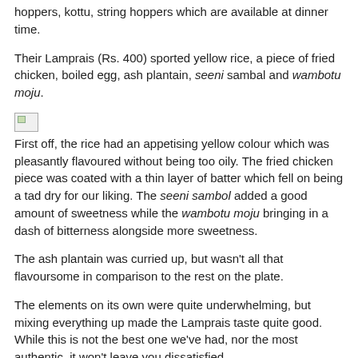hoppers, kottu, string hoppers which are available at dinner time.
Their Lamprais (Rs. 400) sported yellow rice, a piece of fried chicken, boiled egg, ash plantain, seeni sambal and wambotu moju.
[Figure (photo): Broken/missing image placeholder]
First off, the rice had an appetising yellow colour which was pleasantly flavoured without being too oily. The fried chicken piece was coated with a thin layer of batter which fell on being a tad dry for our liking. The seeni sambol added a good amount of sweetness while the wambotu moju bringing in a dash of bitterness alongside more sweetness.
The ash plantain was curried up, but wasn't all that flavoursome in comparison to the rest on the plate.
The elements on its own were quite underwhelming, but mixing everything up made the Lamprais taste quite good. While this is not the best one we've had, nor the most authentic, it won't leave you dissatisfied.
[Figure (photo): Broken/missing image placeholder]